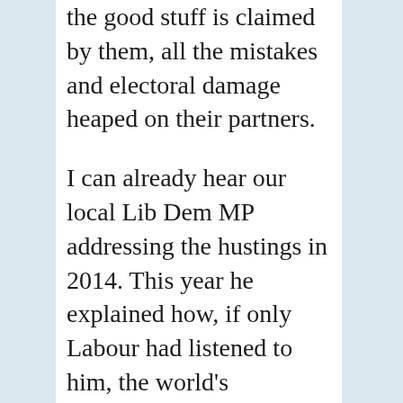the good stuff is claimed by them, all the mistakes and electoral damage heaped on their partners.
I can already hear our local Lib Dem MP addressing the hustings in 2014. This year he explained how, if only Labour had listened to him, the world's environmental problems would all long ago have been solved. At the next election I predict he'll